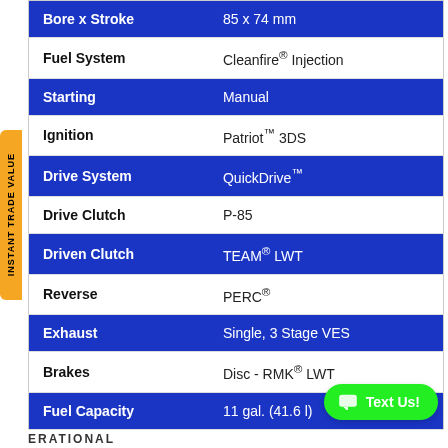| Specification | Value |
| --- | --- |
| Bore x Stroke | 85 x 74 mm |
| Fuel System | Cleanfire® Injection |
| Starting | Manual |
| Ignition | Patriot™ 3DS |
| Drive System | QuickDrive™ |
| Drive Clutch | P-85 |
| Driven Clutch | TEAM® LWT |
| Reverse | PERC® |
| Exhaust | Single, 3 Stage VES |
| Brakes | Disc - RMK® LWT |
| Fuel Capacity | 11 gal. (41.6 l) |
INSTANT TRADE VALUE
Text Us!